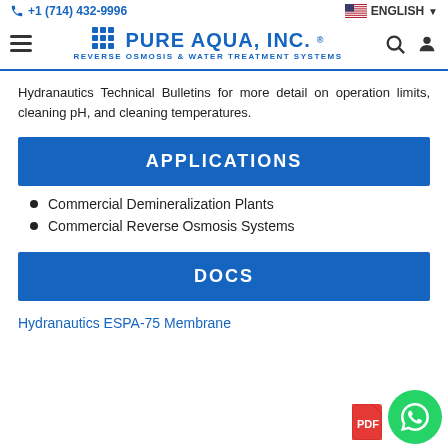+1 (714) 432-9996 | PURE AQUA, INC. | REVERSE OSMOSIS & WATER TREATMENT SYSTEMS | ENGLISH
Hydranautics Technical Bulletins for more detail on operation limits, cleaning pH, and cleaning temperatures.
APPLICATIONS
Commercial Demineralization Plants
Commercial Reverse Osmosis Systems
DOCS
Hydranautics ESPA-75 Membrane